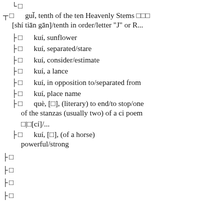└ □
┬ □   guǐ, tenth of the ten Heavenly Stems 十天干[shí tiān gān]/tenth in order/letter "J" or R...
├ □   kuí, sunflower
├ □   kuí, separated/stare
├ □   kuí, consider/estimate
├ □   kuí, a lance
├ □   kuí, in opposition to/separated from
├ □   kuí, place name
├ □   què, [□], (literary) to end/to stop/one of the stanzas (usually two) of a ci poem □|□[cí]/...
├ □   kuí, [□], (of a horse) powerful/strong
├ □
├ □
├ □
├ □